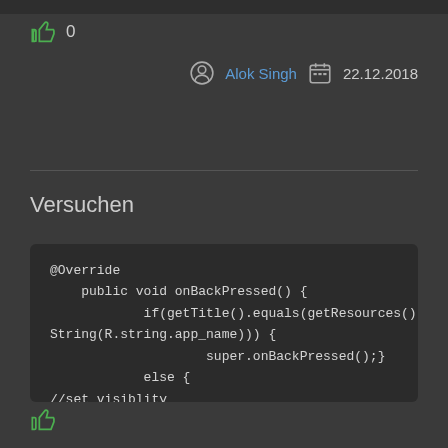👍 0
Alok Singh   22.12.2018
Versuchen
@Override
    public void onBackPressed() {
            if(getTitle().equals(getResources().get
String(R.string.app_name))) {
                    super.onBackPressed();}
            else {
//set visiblity
                    }
}